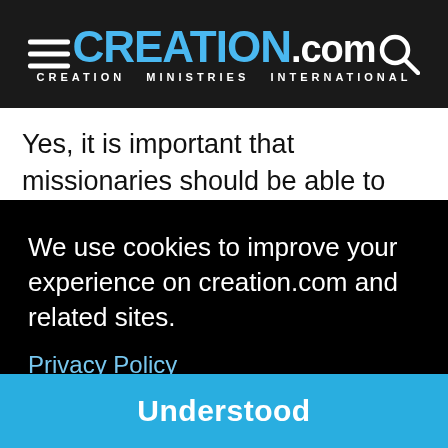CREATION.com | CREATION MINISTRIES INTERNATIONAL
Yes, it is important that missionaries should be able to discuss creation/evolution with Christian students from their fields of work who have gone to Western countries and imbibed evolutionary humanism, and who then return home ready to take up positions of leadership in the local or national church.
Incredible as it may seem, the majority of theological ... [continues] ... raining.
We use cookies to improve your experience on creation.com and related sites.
Privacy Policy
Understood